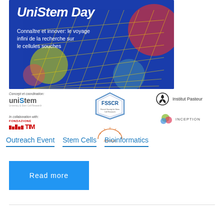[Figure (illustration): UniStem Day event banner with blue background, decorative geometric grid and colorful circles, title 'UniStem Day' in bold italic white, subtitle in French: 'Connaître et innover: le voyage infini de la recherche sur le cellules souches']
[Figure (logo): Logos section: uniStem (concept and coordination), Fondazione TIM (in collaboration with), FSSCR (French Society for Stem Cell Research), Revive, Institut Pasteur, Inception]
Outreach Event   Stem Cells   Bioinformatics
Read more